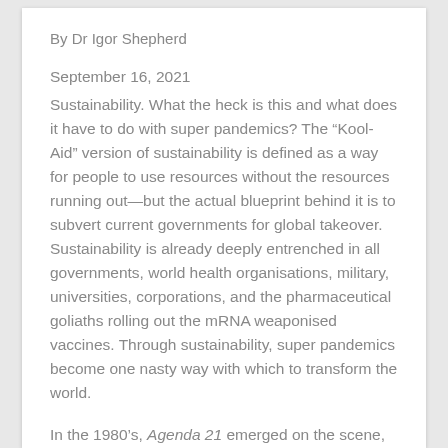By Dr Igor Shepherd
September 16, 2021
Sustainability. What the heck is this and what does it have to do with super pandemics? The “Kool-Aid” version of sustainability is defined as a way for people to use resources without the resources running out—but the actual blueprint behind it is to subvert current governments for global takeover. Sustainability is already deeply entrenched in all governments, world health organisations, military, universities, corporations, and the pharmaceutical goliaths rolling out the mRNA weaponised vaccines. Through sustainability, super pandemics become one nasty way with which to transform the world.
In the 1980’s, Agenda 21 emerged on the scene, and began to circulate among American thinkers, and cause a stir. Agenda 21 was a United Nation’s-